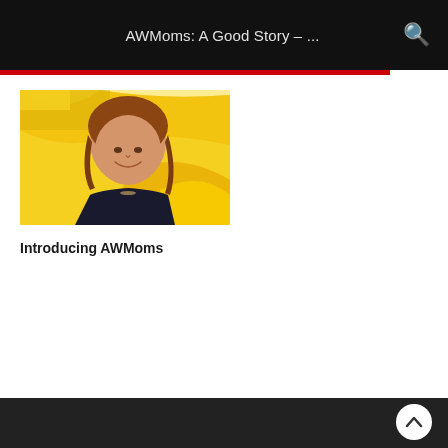AWMoms: A Good Story – ...
[Figure (photo): A smiling woman with shoulder-length auburn hair, wearing a dark top, posed in front of a yellow and white swoosh/wave graphic background. Promotional-style photo related to AWMoms.]
Introducing AWMoms